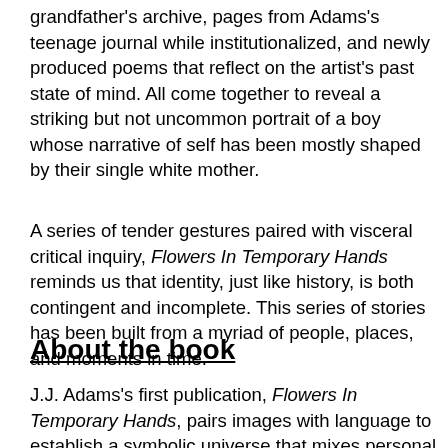grandfather's archive, pages from Adams's teenage journal while institutionalized, and newly produced poems that reflect on the artist's past state of mind. All come together to reveal a striking but not uncommon portrait of a boy whose narrative of self has been mostly shaped by their single white mother.
A series of tender gestures paired with visceral critical inquiry, Flowers In Temporary Hands reminds us that identity, just like history, is both contingent and incomplete. This series of stories has been built from a myriad of people, places, and moments in time.
About the book
J.J. Adams's first publication, Flowers In Temporary Hands, pairs images with language to establish a symbolic universe that mixes personal memory, loss, and desire. One aspect of the connections that enables